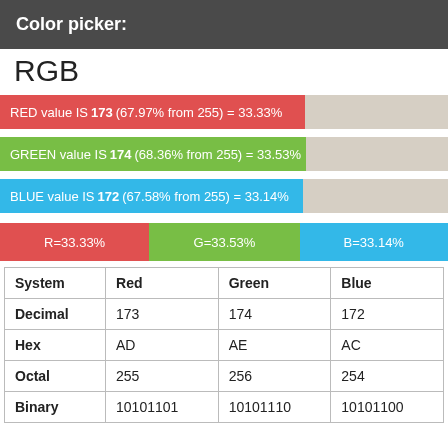Color picker:
RGB
[Figure (bar-chart): RGB bars]
[Figure (stacked-bar-chart): RGB combined]
| System | Red | Green | Blue |
| --- | --- | --- | --- |
| Decimal | 173 | 174 | 172 |
| Hex | AD | AE | AC |
| Octal | 255 | 256 | 254 |
| Binary | 10101101 | 10101110 | 10101100 |